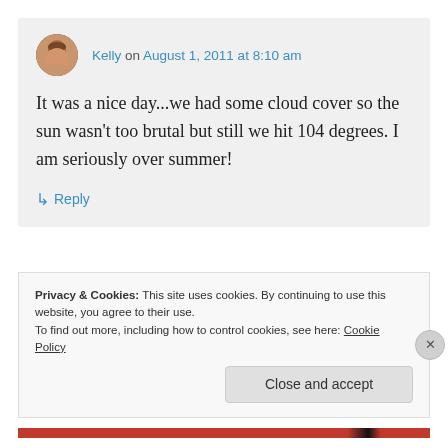Kelly on August 1, 2011 at 8:10 am
It was a nice day...we had some cloud cover so the sun wasn't too brutal but still we hit 104 degrees. I am seriously over summer!
↳ Reply
[Figure (screenshot): Dark banner advertisement]
REPORT THIS AD
Privacy & Cookies: This site uses cookies. By continuing to use this website, you agree to their use.
To find out more, including how to control cookies, see here: Cookie Policy
Close and accept